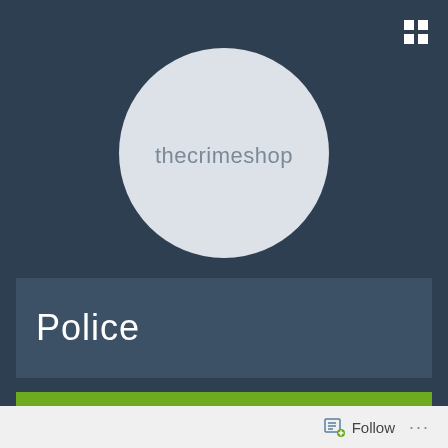[Figure (logo): Grid/menu icon in top-right corner, white 2x2 square grid]
[Figure (logo): Circle logo with light gray background and text 'thecrimeshop' in thin gray font]
Police
2022-06-01
CRIMESHOP
Follow
...